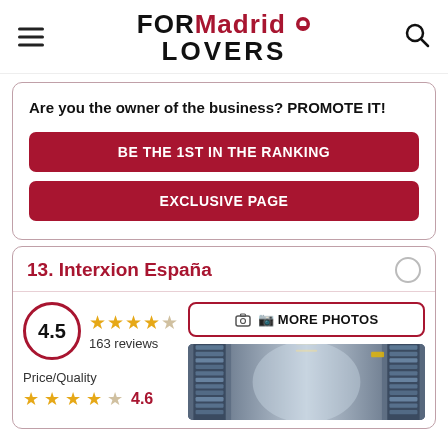FOR Madrid LOVERS
Are you the owner of the business? PROMOTE IT!
BE THE 1ST IN THE RANKING
EXCLUSIVE PAGE
13. Interxion España
4.5 — 163 reviews
Price/Quality
4.6
[Figure (photo): Data center corridor with server racks and lighting]
MORE PHOTOS